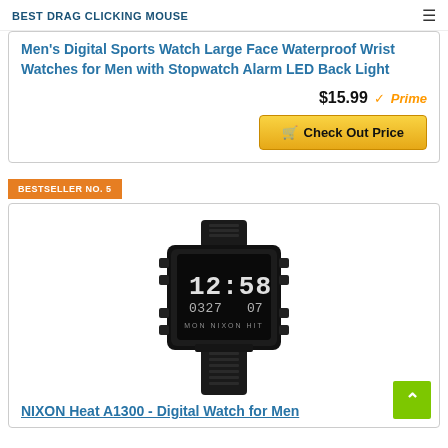BEST DRAG CLICKING MOUSE
Men's Digital Sports Watch Large Face Waterproof Wrist Watches for Men with Stopwatch Alarm LED Back Light
$15.99 Prime
Check Out Price
BESTSELLER NO. 5
[Figure (photo): Black Nixon Heat digital watch with square face showing 12:58 time display, black rubber strap]
NIXON Heat A1300 - Digital Watch for Men